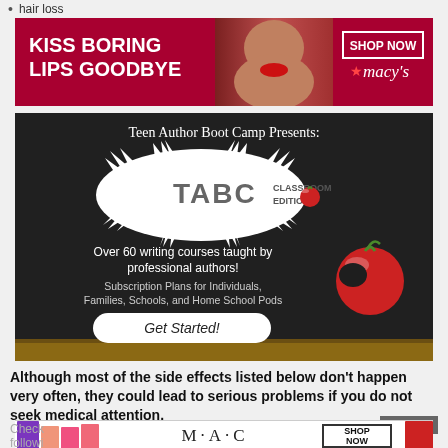hair loss
[Figure (photo): Macy's advertisement: KISS BORING LIPS GOODBYE with a model and red lips. SHOP NOW button with Macy's star logo.]
[Figure (photo): Teen Author Boot Camp Presents: TABC CLASSROOM EDITION advertisement on chalkboard background. Over 60 writing courses taught by professional authors! Subscription Plans for Individuals, Families, Schools, and Home School Pods. Get Started! button.]
Although most of the side effects listed below don't happen very often, they could lead to serious problems if you do not seek medical attention.
[Figure (photo): MAC cosmetics advertisement with colorful lipsticks, MAC logo, SHOP NOW button.]
Check
followi